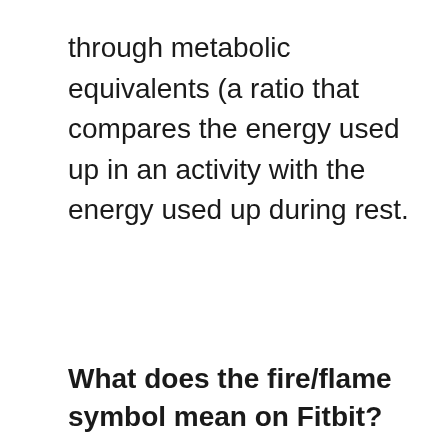through metabolic equivalents (a ratio that compares the energy used up in an activity with the energy used up during rest.
What does the fire/flame symbol mean on Fitbit?